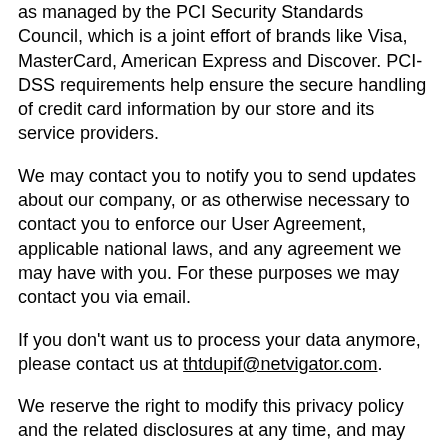as managed by the PCI Security Standards Council, which is a joint effort of brands like Visa, MasterCard, American Express and Discover. PCI-DSS requirements help ensure the secure handling of credit card information by our store and its service providers.
We may contact you to notify you to send updates about our company, or as otherwise necessary to contact you to enforce our User Agreement, applicable national laws, and any agreement we may have with you. For these purposes we may contact you via email.
If you don't want us to process your data anymore, please contact us at thtdupif@netvigator.com.
We reserve the right to modify this privacy policy and the related disclosures at any time, and may subsequently publish the amendments on an appropriate location of the website without giving individual notifications. You may at any time review the amended privacy policy and related disclosures on the website.